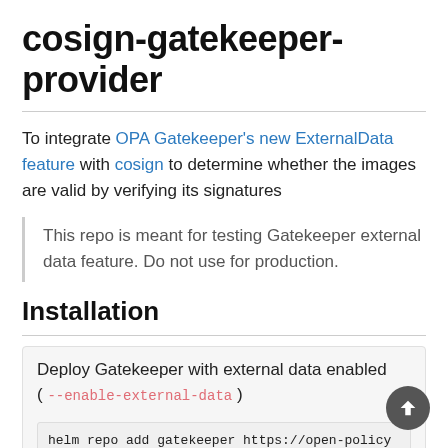cosign-gatekeeper-provider
To integrate OPA Gatekeeper's new ExternalData feature with cosign to determine whether the images are valid by verifying its signatures
This repo is meant for testing Gatekeeper external data feature. Do not use for production.
Installation
Deploy Gatekeeper with external data enabled ( --enable-external-data )
helm repo add gatekeeper https://open-policy
helm install gatekeeper/gatekeeper \